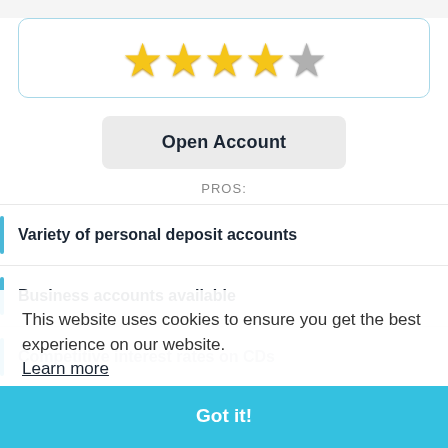[Figure (other): Star rating display showing 4 out of 5 gold stars with one gray star]
Open Account
PROS:
Variety of personal deposit accounts
Business accounts available
Competitive interest rates on CDs
Most accounts have low opening amounts
CONS:
High opening required amount for MMA
This website uses cookies to ensure you get the best experience on our website. Learn more
Got it!